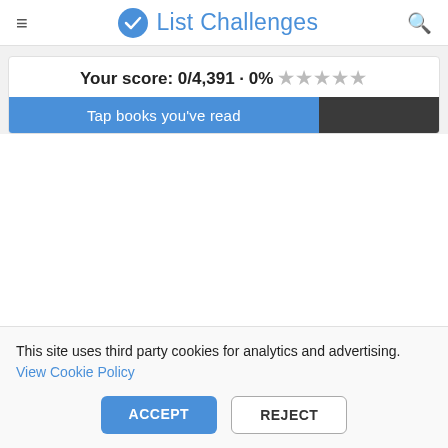List Challenges
Your score: 0/4,391 · 0% ★★★★★
Tap books you've read
This site uses third party cookies for analytics and advertising. View Cookie Policy
ACCEPT
REJECT